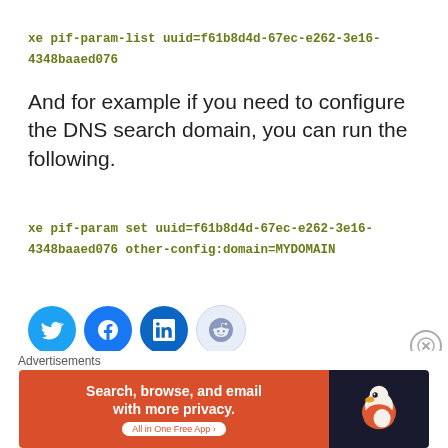xe pif-param-list uuid=f61b8d4d-67ec-e262-3e16-4348baaed076
And for example if you need to configure the DNS search domain, you can run the following.
xe pif-param set uuid=f61b8d4d-67ec-e262-3e16-4348baaed076 other-config:domain=MYDOMAIN
[Figure (infographic): Social share buttons: Twitter (blue), Facebook (blue), LinkedIn (dark blue), Reddit (light blue outline)]
Like this:
Loading...
[Figure (infographic): Advertisement banner: DuckDuckGo - Search, browse, and email with more privacy. All in One Free App]